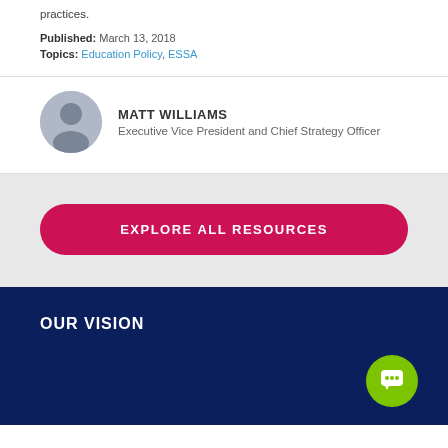practices.
Published: March 13, 2018
Topics: Education Policy, ESSA
MATT WILLIAMS
Executive Vice President and Chief Strategy Officer
EXPLORE ALL RESOURCES
OUR VISION